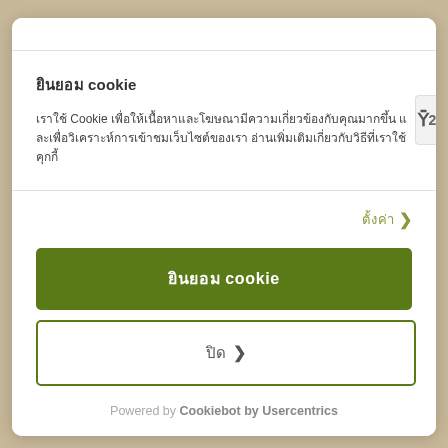ยินยอม cookie
เราใช้ Cookie เพื่อให้เนื้อหาและโฆษณามีความเกี่ยวข้องกับคุณมากขึ้น และเพื่อวิเคราะห์การเข้าชมเว็บไซต์ของเรา อ่านเพิ่มเติมเกี่ยวกับวิธีที่เราใช้คุกกี้
ตั้งค่า >
ยินยอม cookie
ปิด >
Powered by Cookiebot by Usercentrics